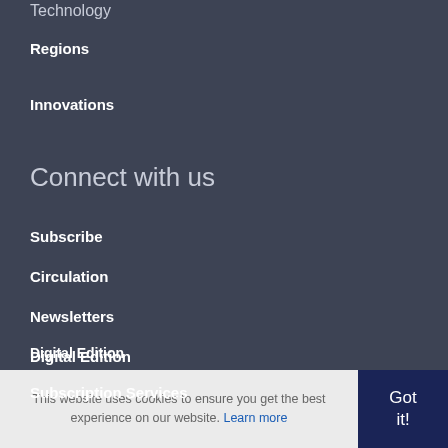Technology
Regions
Innovations
Connect with us
Subscribe
Circulation
Newsletters
Digital Edition
Subscription Services
This website uses cookies to ensure you get the best experience on our website. Learn more
Got it!